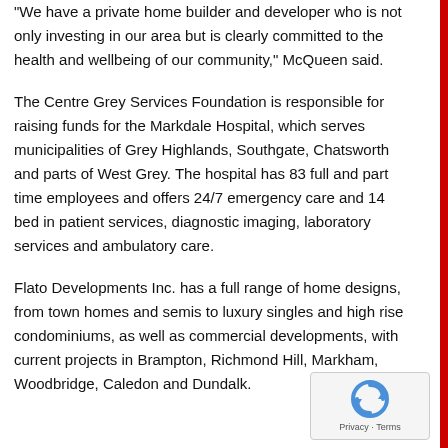"We have a private home builder and developer who is not only investing in our area but is clearly committed to the health and wellbeing of our community," McQueen said.
The Centre Grey Services Foundation is responsible for raising funds for the Markdale Hospital, which serves municipalities of Grey Highlands, Southgate, Chatsworth and parts of West Grey. The hospital has 83 full and part time employees and offers 24/7 emergency care and 14 bed in patient services, diagnostic imaging, laboratory services and ambulatory care.
Flato Developments Inc. has a full range of home designs, from town homes and semis to luxury singles and high rise condominiums, as well as commercial developments, with current projects in Brampton, Richmond Hill, Markham, Woodbridge, Caledon and Dundalk.